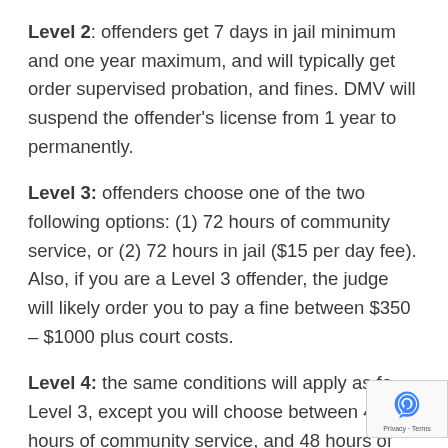Level 2: offenders get 7 days in jail minimum and one year maximum, and will typically get order supervised probation, and fines. DMV will suspend the offender's license from 1 year to permanently.
Level 3: offenders choose one of the two following options: (1) 72 hours of community service, or (2) 72 hours in jail ($15 per day fee). Also, if you are a Level 3 offender, the judge will likely order you to pay a fine between $350 – $1000 plus court costs.
Level 4: the same conditions will apply as for Level 3, except you will choose between 48 hours of community service, and 48 hours of